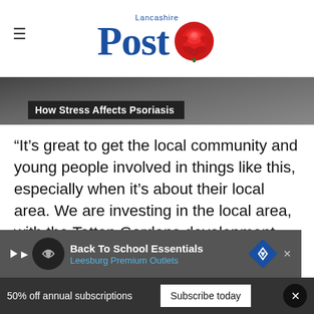Lancashire Post
[Figure (photo): Dark background hero image with caption overlay 'How Stress Affects Psoriasis' on black banner]
“It’s great to get the local community and young people involved in things like this, especially when it’s about their local area. We are investing in the local area, with the Tatton Gardens development, so that residents of the Chorley East c… facilities within their community, including
[Figure (screenshot): Advertisement bar: Back To School Essentials - Leesburg Premium Outlets]
50% off annual subscriptions  Subscribe today